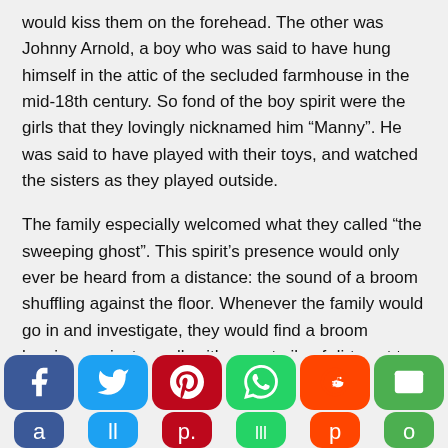would kiss them on the forehead. The other was Johnny Arnold, a boy who was said to have hung himself in the attic of the secluded farmhouse in the mid-18th century. So fond of the boy spirit were the girls that they lovingly nicknamed him “Manny”. He was said to have played with their toys, and watched the sisters as they played outside.
The family especially welcomed what they called “the sweeping ghost”. This spirit’s presence would only ever be heard from a distance: the sound of a broom shuffling against the floor. Whenever the family would go in and investigate, they would find a broom leaning against a wall, with a neat pile of dirt next to it. However, as time went by, it became apparent that not all the spirits on the estate were friendly.
[Figure (infographic): Social media sharing buttons bar: Facebook (blue), Twitter (light blue), Pinterest (dark red), WhatsApp (green), Reddit (orange-red), Email (green), Share (orange). Plus a red scroll-to-top button on the right.]